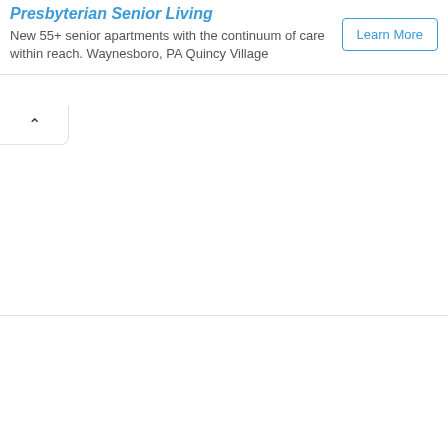Presbyterian Senior Living
New 55+ senior apartments with the continuum of care within reach. Waynesboro, PA Quincy Village
[Figure (other): Learn More button with blue border and blue text]
[Figure (other): Collapse/chevron-up tab button at bottom of ad banner]